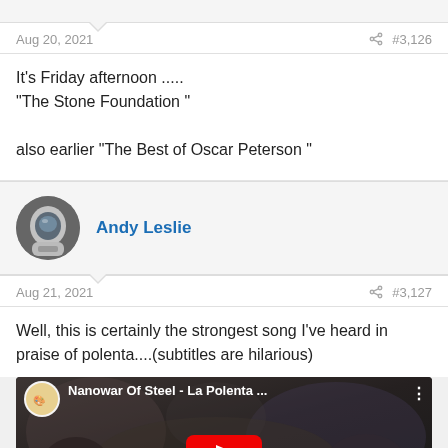Aug 20, 2021  #3,126
It's Friday afternoon .....
"The Stone Foundation "

also earlier “The Best of Oscar Peterson “
[Figure (photo): User avatar: astronaut photo, circular crop]
Andy Leslie
Aug 21, 2021  #3,127
Well, this is certainly the strongest song I've heard in praise of polenta....(subtitles are hilarious)
[Figure (screenshot): YouTube video thumbnail: Nanowar Of Steel - La Polenta ... with dark fantasy background image and red YouTube play button]